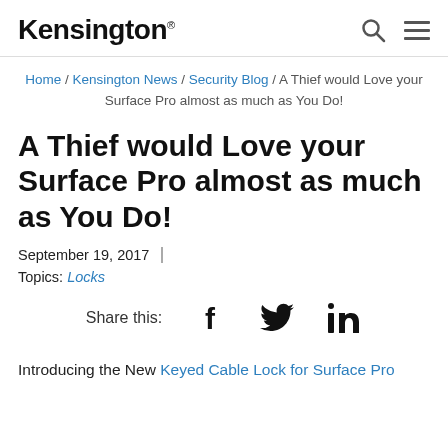Kensington
Home / Kensington News / Security Blog / A Thief would Love your Surface Pro almost as much as You Do!
A Thief would Love your Surface Pro almost as much as You Do!
September 19, 2017
Topics: Locks
Share this: [Facebook] [Twitter] [LinkedIn]
Introducing the New Keyed Cable Lock for Surface Pro